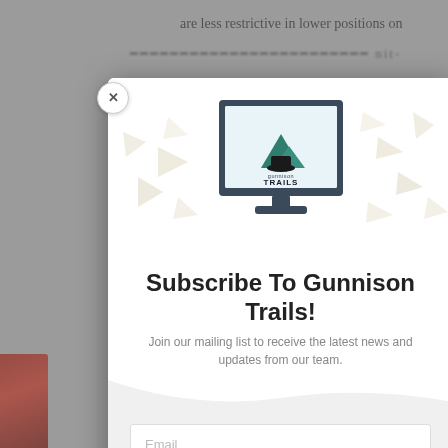are less restrictive in lower positions on
[Figure (screenshot): Modal popup overlay for Gunnison Trails newsletter subscription. Contains a logo of a monitor displaying the Gunnison Trails logo (mountain landscape with road), decorative paper envelope/plane shapes in background, title text 'Subscribe To Gunnison Trails!', description text, email input field, and a blue SUBSCRIBE! button. A close (X) button appears in the top-left corner of the modal.]
Subscribe To Gunnison Trails!
Join our mailing list to receive the latest news and updates from our team.
Email
SUBSCRIBE!